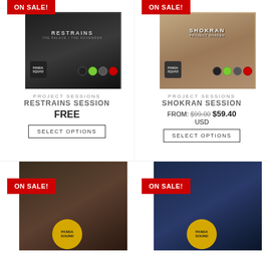[Figure (photo): Product box for RESTRAINS SESSION with ON SALE badge, dark box artwork]
PROJECT SESSIONS
RESTRAINS SESSION
FREE
SELECT OPTIONS
[Figure (photo): Product box for SHOKRAN SESSION with ON SALE badge, desert/warrior artwork]
PROJECT SESSIONS
SHOKRAN SESSION
FROM: $99.00 $59.40 USD
SELECT OPTIONS
[Figure (photo): Product box with ON SALE badge, dark creature artwork, Panda Sound logo]
[Figure (photo): Product box with ON SALE badge, blue sci-fi artwork, Panda Sound logo]